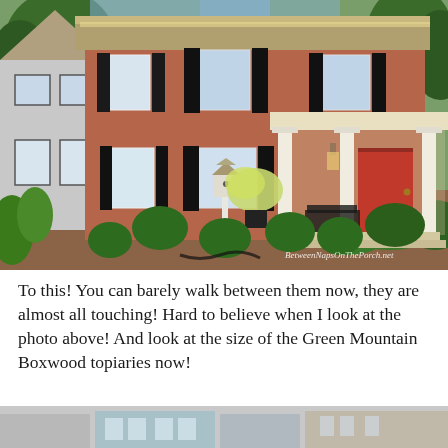[Figure (photo): A two-story brick Colonial-style home with a red front door, white columns on the front porch, black shutters on windows, a white birdhouse post in the yard, and numerous green globe-shaped boxwood shrubs and topiaries lining the front walkway. Photo watermarked 'BetweenNapsOnThePorch.net'.]
To this! You can barely walk between them now, they are almost all touching! Hard to believe when I look at the photo above! And look at the size of the Green Mountain Boxwood topiaries now!